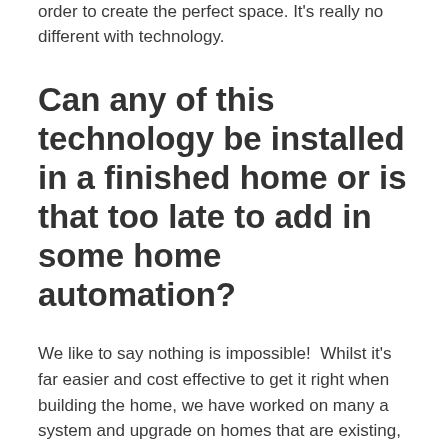order to create the perfect space. It's really no different with technology.
Can any of this technology be installed in a finished home or is that too late to add in some home automation?
We like to say nothing is impossible!  Whilst it's far easier and cost effective to get it right when building the home, we have worked on many a system and upgrade on homes that are existing, but not fulfilling their potential for the owner.